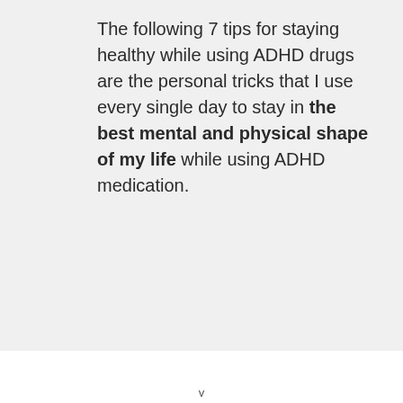The following 7 tips for staying healthy while using ADHD drugs are the personal tricks that I use every single day to stay in the best mental and physical shape of my life while using ADHD medication.
v